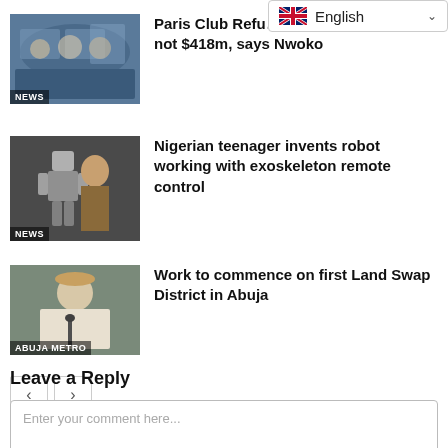[Figure (screenshot): English language selector dropdown with UK flag]
[Figure (photo): NEWS thumbnail: Paris Club Refund meeting scene]
Paris Club Refund... We are owed $6bn not $418m, says Nwoko
[Figure (photo): NEWS thumbnail: Nigerian teenager with robot exoskeleton]
Nigerian teenager invents robot working with exoskeleton remote control
[Figure (photo): ABUJA METRO thumbnail: Work to commence on first Land Swap District in Abuja]
Work to commence on first Land Swap District in Abuja
< >
Leave a Reply
Enter your comment here...